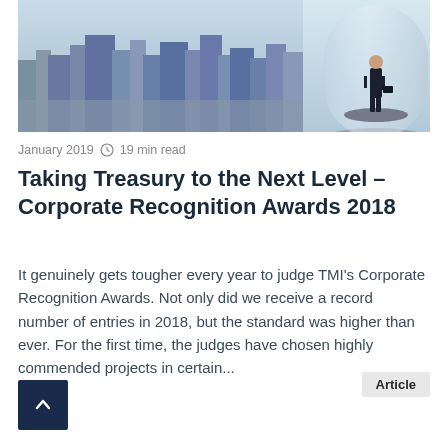[Figure (photo): A cityscape skyline with skyscrapers on the left, and on the right a person in a business suit standing on a floating platform inside a glass cylinder, holding a briefcase, against a light blue sky.]
January 2019  🕐 19 min read
Taking Treasury to the Next Level – Corporate Recognition Awards 2018
It genuinely gets tougher every year to judge TMI's Corporate Recognition Awards. Not only did we receive a record number of entries in 2018, but the standard was higher than ever. For the first time, the judges have chosen highly commended projects in certain...
Article